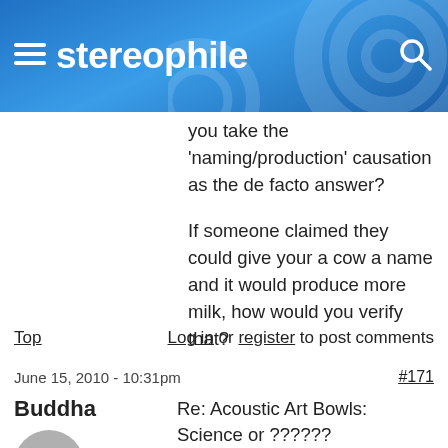stereophile
you take the 'naming/production' causation as the de facto answer?

If someone claimed they could give your a cow a name and it would produce more milk, how would you verify that?
Top   Log in or register to post comments
June 15, 2010 - 10:31pm   #171
Buddha   Re: Acoustic Art Bowls: Science or ??????